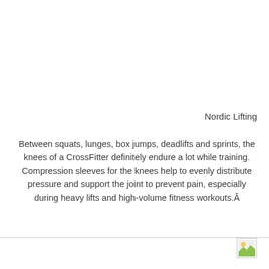Nordic Lifting
Between squats, lunges, box jumps, deadlifts and sprints, the knees of a CrossFitter definitely endure a lot while training. Compression sleeves for the knees help to evenly distribute pressure and support the joint to prevent pain, especially during heavy lifts and high-volume fitness workouts.Â
[Figure (other): Small image icon in footer area]